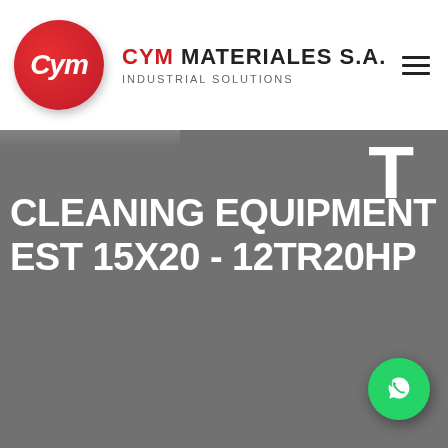[Figure (logo): CYM Materiales S.A. logo with red circle containing 'Cym' in white italic text, alongside brand name and 'Industrial Solutions' subtitle, and hamburger menu icon]
CLEANING EQUIPMENT EST 15X20 - 12TR20HP